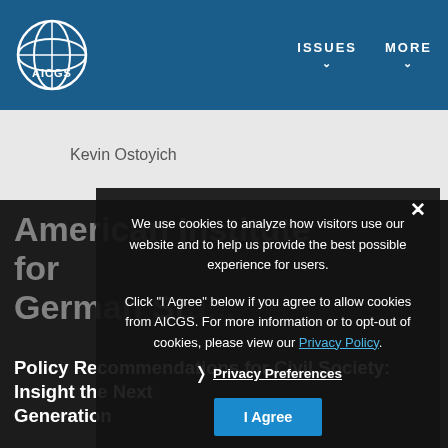[Figure (logo): AICGS logo: circular globe icon with text AICGS in white, on dark blue navigation bar]
ISSUES ▾   MORE ▾
Kevin Ostoyich
We use cookies to analyze how visitors use our website and to help us provide the best possible experience for users.

Click "I Agree" below if you agree to allow cookies from AICGS. For more information or to opt-out of cookies, please view our Privacy Policy.
❯ Privacy Preferences
I Agree
Policy Recommendations for Civil Society: Insights for the Next Generation